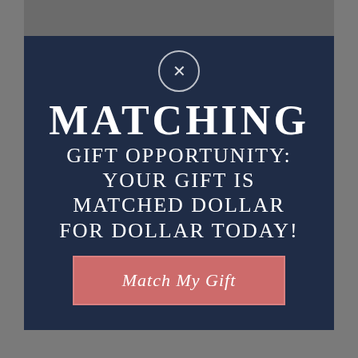[Figure (screenshot): A fundraising modal popup overlay showing a matching gift opportunity. Dark navy blue semi-transparent overlay on top of a building/estate background image. Contains a close button (X in circle), large white uppercase text 'MATCHING GIFT OPPORTUNITY: YOUR GIFT IS MATCHED DOLLAR FOR DOLLAR TODAY!' and a salmon/rose colored button reading 'Match My Gift' in italic serif font.]